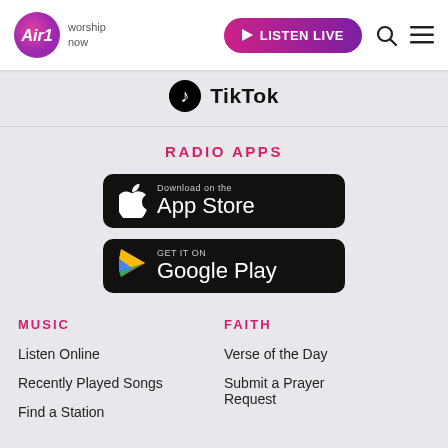Air1 worship now | LISTEN LIVE
[Figure (logo): TikTok logo icon with TikTok text]
RADIO APPS
[Figure (screenshot): Download on the App Store badge (black rounded rectangle)]
[Figure (screenshot): Get it on Google Play badge (black rounded rectangle)]
MUSIC
FAITH
Listen Online
Verse of the Day
Recently Played Songs
Submit a Prayer Request
Find a Station